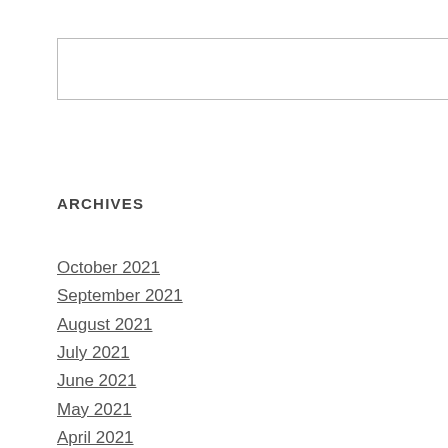Search
ARCHIVES
October 2021
September 2021
August 2021
July 2021
June 2021
May 2021
April 2021
March 2021
February 2021
January 2021
December 2020
November 2020
October 2020